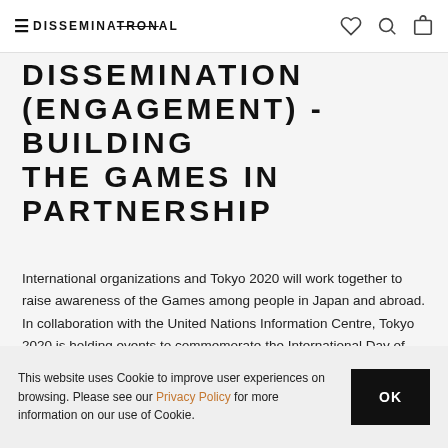DISSEMINATION PRONAL
DISSEMINATION (ENGAGEMENT) - BUILDING THE GAMES IN PARTNERSHIP
International organizations and Tokyo 2020 will work together to raise awareness of the Games among people in Japan and abroad. In collaboration with the United Nations Information Centre, Tokyo 2020 is holding events to commemorate the International Day of Sport for Development and Peace.
This website uses Cookie to improve user experiences on browsing. Please see our Privacy Policy for more information on our use of Cookie.